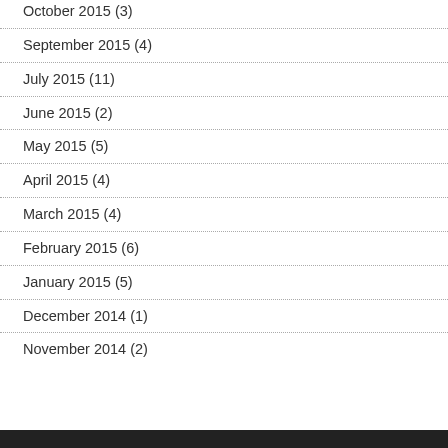October 2015 (3)
September 2015 (4)
July 2015 (11)
June 2015 (2)
May 2015 (5)
April 2015 (4)
March 2015 (4)
February 2015 (6)
January 2015 (5)
December 2014 (1)
November 2014 (2)